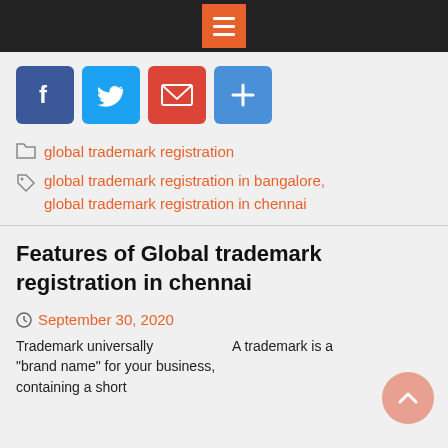Menu
[Figure (infographic): Social share buttons: Facebook, Twitter, Email, Plus/Share]
global trademark registration
global trademark registration in bangalore, global trademark registration in chennai
Features of Global trademark registration in chennai
September 30, 2020
Trademark universally “brand name” for your business, containing a short
A trademark is a